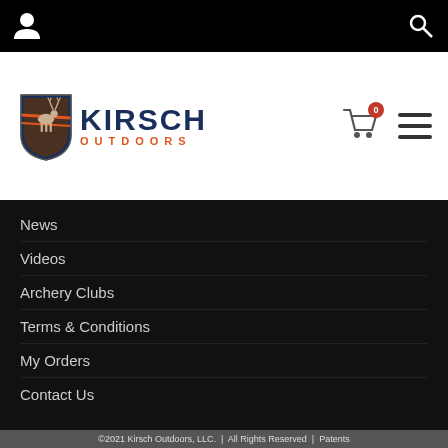[Figure (logo): Kirsch Outdoors logo with shield icon containing a deer, KIRSCH text in dark blue, OUTDOORS text in orange]
News
Videos
Archery Clubs
Terms & Conditions
My Orders
Contact Us
©2021 Kirsch Outdoors, LLC.  |  All Rights Reserved  |  Patents